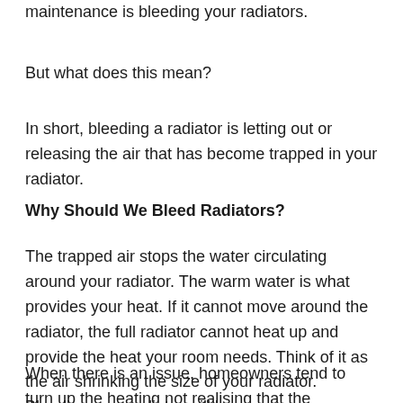maintenance is bleeding your radiators.
But what does this mean?
In short, bleeding a radiator is letting out or releasing the air that has become trapped in your radiator.
Why Should We Bleed Radiators?
The trapped air stops the water circulating around your radiator. The warm water is what provides your heat. If it cannot move around the radiator, the full radiator cannot heat up and provide the heat your room needs. Think of it as the air shrinking the size of your radiator. Bleeding your radiator will keep you warmer.
When there is an issue, homeowners tend to turn up the heating not realising that the radiators need bleeding. This